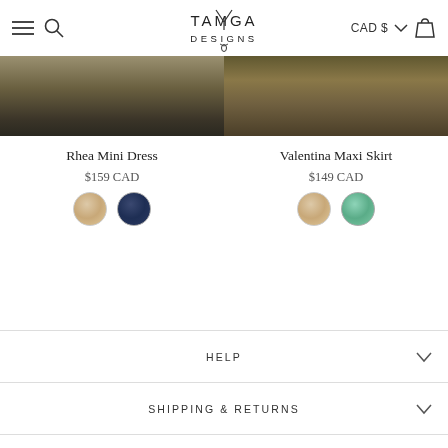[Figure (screenshot): TAMGA Designs e-commerce website header with hamburger menu, search icon, logo, CAD $ currency selector, and cart icon]
[Figure (photo): Product image strip showing two clothing items - Rhea Mini Dress on left (dark textured fabric) and Valentina Maxi Skirt on right (earthy textured fabric)]
Rhea Mini Dress
$159 CAD
[Figure (other): Two color swatches for Rhea Mini Dress: floral light/peach and dark navy blue]
Valentina Maxi Skirt
$149 CAD
[Figure (other): Two color swatches for Valentina Maxi Skirt: floral light/peach and green floral]
HELP
SHIPPING & RETURNS
INFORMATION
CONTACT US